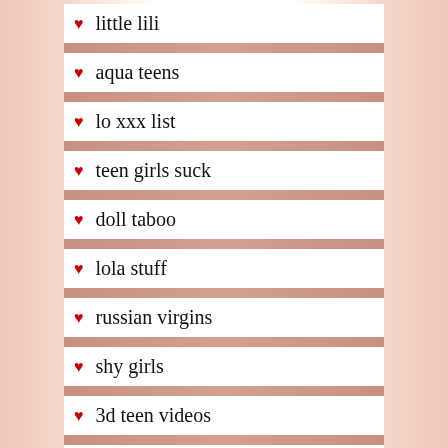little lili
aqua teens
lo xxx list
teen girls suck
doll taboo
lola stuff
russian virgins
shy girls
3d teen videos
play 3d girls